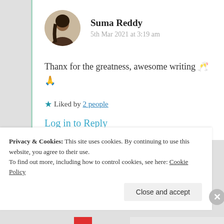Suma Reddy
5th Mar 2021 at 3:19 am
Thanx for the greatness, awesome writing 🥂 🙏
★ Liked by 2 people
Log in to Reply
Privacy & Cookies: This site uses cookies. By continuing to use this website, you agree to their use.
To find out more, including how to control cookies, see here: Cookie Policy
Close and accept